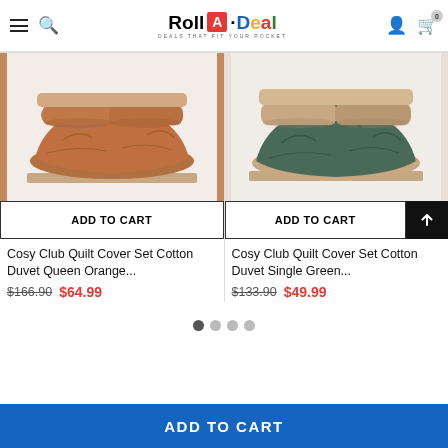Roll A Deal - DEALS THAT FIT YOUR POCKET
[Figure (photo): Cosy Club orange/brown quilt cover set on bed - product photo]
ADD TO CART
Cosy Club Quilt Cover Set Cotton Duvet Queen Orange...
$166.90  $64.99
[Figure (photo): Cosy Club green/beige quilt cover set on bed - product photo]
ADD TO CART
Cosy Club Quilt Cover Set Cotton Duvet Single Green...
$133.90  $49.99
ADD TO CART